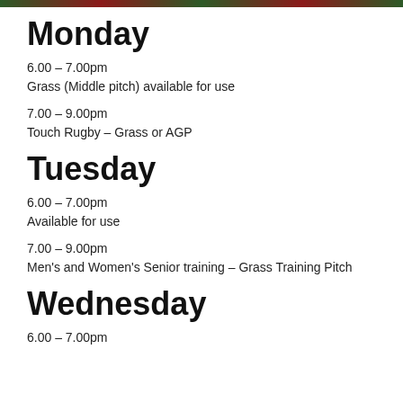Monday
6.00 – 7.00pm
Grass (Middle pitch) available for use
7.00 – 9.00pm
Touch Rugby – Grass or AGP
Tuesday
6.00 – 7.00pm
Available for use
7.00 – 9.00pm
Men's and Women's Senior training – Grass Training Pitch
Wednesday
6.00 – 7.00pm